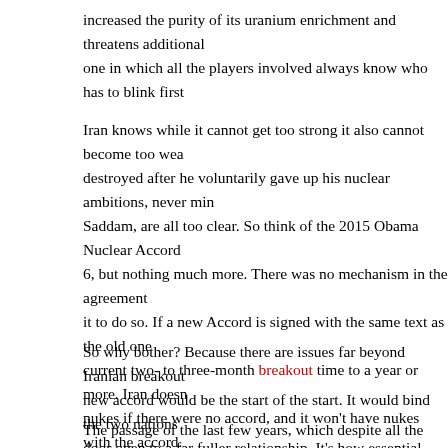increased the purity of its uranium enrichment and threatens additional one in which all the players involved always know who has to blink first
Iran knows while it cannot get too strong it also cannot become too weak destroyed after he voluntarily gave up his nuclear ambitions, never mind Saddam, are all too clear. So think of the 2015 Obama Nuclear Accord 6, but nothing much more. There was no mechanism in the agreement it to do so. If a new Accord is signed with the same text as the old one current two- to three-month breakout time to a year or more. Iran doesn nukes if there were no accord, and it won't have nukes with the accord. eliminate weapons of mass destruction that never existed.
So why bother? Because there are issues far beyond Iranian breakout new accord would be the start of the start. It would bind the two nations door open to a far fuller relationship. It's how essential diplomacy works quick fixes, or solve every bilateral issue. The goal is to achieve a mutu problem. Then on to the next if possible. And for those who don't yet se of the above applies to North Korea, except that they managed to actua distracted by its global war on terrorism.
The passage of the last few years, which despite all the incidents, of re